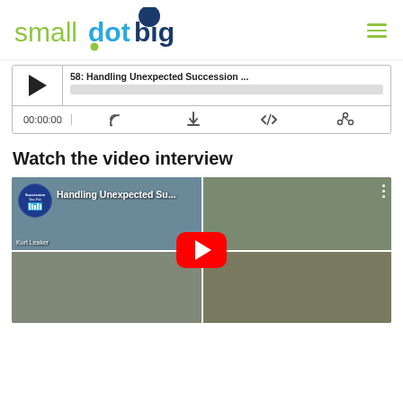smalldotbig
[Figure (screenshot): Audio podcast player showing episode '58: Handling Unexpected Succession ...' with play button, timestamp 00:00:00, and controls for stream, download, embed, and share.]
Watch the video interview
[Figure (screenshot): YouTube video thumbnail showing 'Handling Unexpected Su...' video with four participants in a video call grid layout. YouTube play button centered. Bottom-left participant labeled 'Kurt Leaker'.]